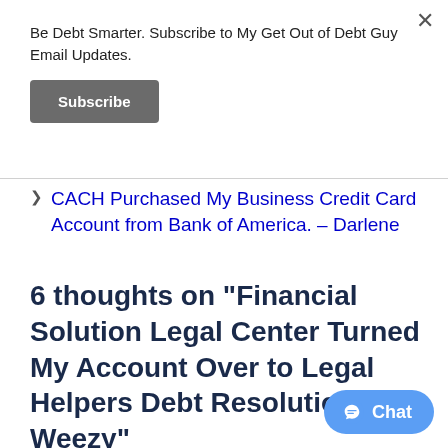Be Debt Smarter. Subscribe to My Get Out of Debt Guy Email Updates.
Subscribe
CACH Purchased My Business Credit Card Account from Bank of America. – Darlene
6 thoughts on “Financial Solution Legal Center Turned My Account Over to Legal Helpers Debt Resolution. – Weezy”